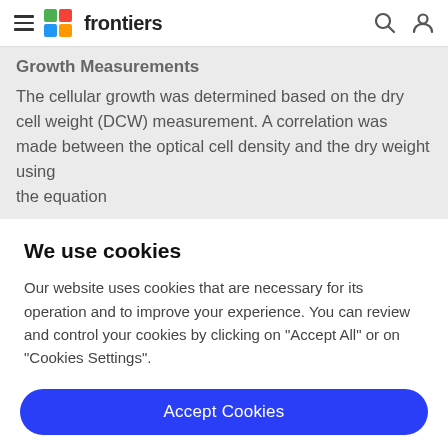frontiers
Growth Measurements
The cellular growth was determined based on the dry cell weight (DCW) measurement. A correlation was made between the optical cell density and the dry weight using the equation
We use cookies
Our website uses cookies that are necessary for its operation and to improve your experience. You can review and control your cookies by clicking on "Accept All" or on "Cookies Settings".
Accept Cookies
Cookies Settings